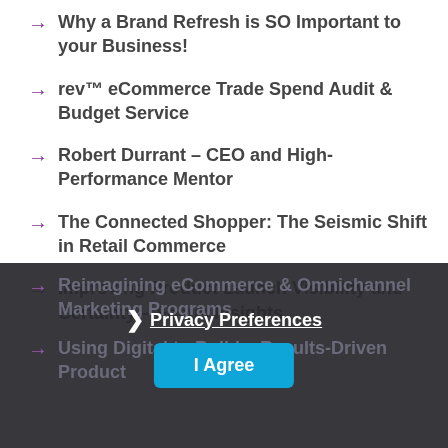Why a Brand Refresh is SO Important to your Business!
rev™ eCommerce Trade Spend Audit & Budget Service
Robert Durrant – CEO and High-Performance Mentor
The Connected Shopper: The Seismic Shift in Retail Commerce
Improving Product Launch Visibility and Certainty – Focus Insights
Reimagining eCommerce & Omnichannel Marketing Programs
Using Digital to Build a Results-Driven Product